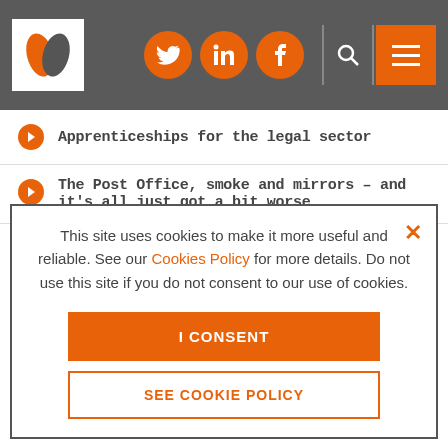[Figure (screenshot): Website header with logo (orange and dark leaf/feather icon on white background), social media icons (Twitter, LinkedIn, Facebook) in orange circles, search icon, and orange hamburger menu button, all on dark grey background]
Apprenticeships for the legal sector
The Post Office, smoke and mirrors – and it's all just got a bit worse
Law firm consolidation: Do or die?
This site uses cookies to make it more useful and reliable. See our Cookies Policy for more details. Do not use this site if you do not consent to our use of cookies.
I CONSENT
SEE COOKIE POLICY